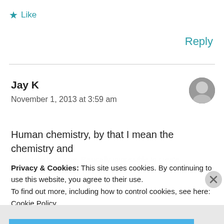★ Like
Reply
Jay K
November 1, 2013 at 3:59 am
Human chemistry, by that I mean the chemistry and
predictability of love. Basically impossible to create a formula for love...
Privacy & Cookies: This site uses cookies. By continuing to use this website, you agree to their use.
To find out more, including how to control cookies, see here:
Cookie Policy
Close and accept